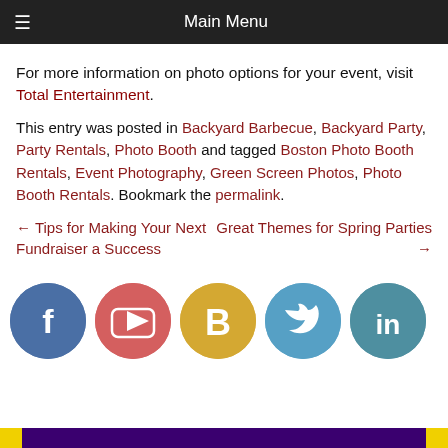≡  Main Menu
For more information on photo options for your event, visit Total Entertainment.
This entry was posted in Backyard Barbecue, Backyard Party, Party Rentals, Photo Booth and tagged Boston Photo Booth Rentals, Event Photography, Green Screen Photos, Photo Booth Rentals. Bookmark the permalink.
← Tips for Making Your Next Fundraiser a Success    Great Themes for Spring Parties →
[Figure (infographic): Row of five social media icon circles: Facebook (blue), YouTube (red/pink), Blogger (gold/yellow), Twitter (light blue), LinkedIn (teal)]